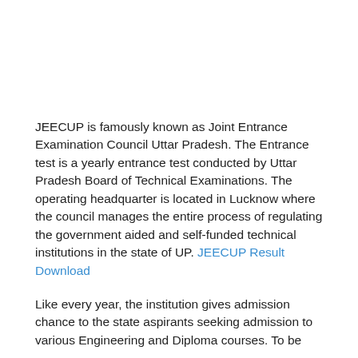JEECUP is famously known as Joint Entrance Examination Council Uttar Pradesh. The Entrance test is a yearly entrance test conducted by Uttar Pradesh Board of Technical Examinations. The operating headquarter is located in Lucknow where the council manages the entire process of regulating the government aided and self-funded technical institutions in the state of UP. JEECUP Result Download
Like every year, the institution gives admission chance to the state aspirants seeking admission to various Engineering and Diploma courses. To be